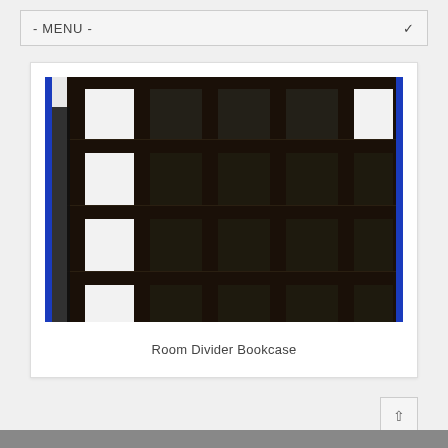- MENU -
[Figure (photo): A large black room divider bookcase with a 5x4 grid of open cube compartments, photographed against a white background. Blue vertical strips appear on left and right edges of the image frame.]
Room Divider Bookcase